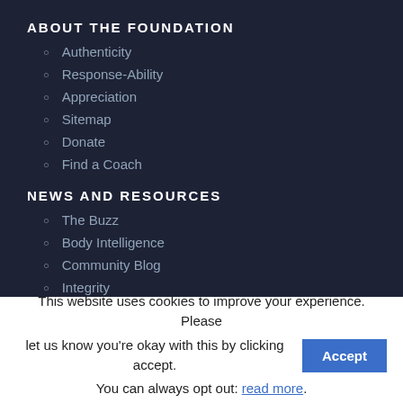ABOUT THE FOUNDATION
Authenticity
Response-Ability
Appreciation
Sitemap
Donate
Find a Coach
NEWS AND RESOURCES
The Buzz
Body Intelligence
Community Blog
Integrity
This website uses cookies to improve your experience. Please let us know you’re okay with this by clicking accept. You can always opt out: read more.